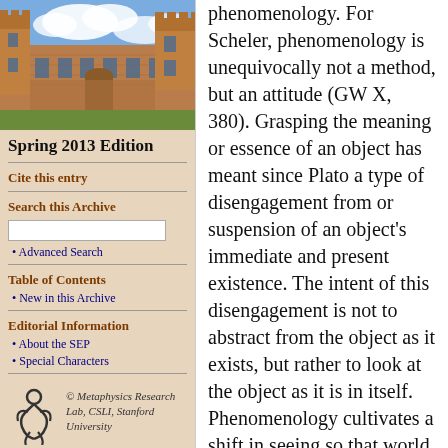[Figure (photo): Aerial or ground view of a stone university building (likely Stanford or Oxford) with gothic architecture under a blue sky with clouds.]
Spring 2013 Edition
Cite this entry
Search this Archive
Advanced Search
Table of Contents
New in this Archive
Editorial Information
About the SEP
Special Characters
[Figure (logo): Metaphysics Research Lab logo — stylized figure/person icon in black on tan background.]
© Metaphysics Research Lab, CSLI, Stanford University
phenomenology. For Scheler, phenomenology is unequivocally not a method, but an attitude (GW X, 380). Grasping the meaning or essence of an object has meant since Plato a type of disengagement from or suspension of an object's immediate and present existence. The intent of this disengagement is not to abstract from the object as it exists, but rather to look at the object as it is in itself. Phenomenology cultivates a shift in seeing so that world is no longer taken for granted, as it is in the natural worldview, but regarded critically. The phenomenological attitude do...